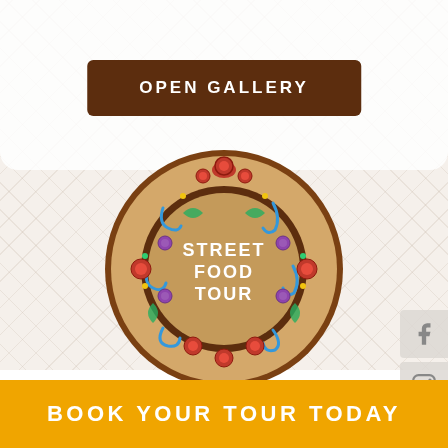[Figure (illustration): Decorative ceramic plate with colorful floral/folk pattern border in red, blue, purple and gold on brown background. Center of plate is plain brown/tan with text 'STREET FOOD TOUR' in white bold letters.]
OPEN GALLERY
You can unlock this tour if you have
BOOK YOUR TOUR TODAY